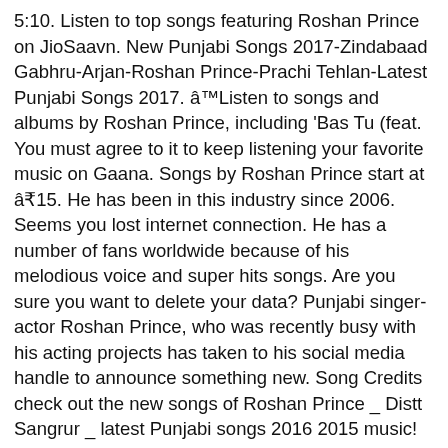5:10. Listen to top songs featuring Roshan Prince on JioSaavn. New Punjabi Songs 2017-Zindabaad Gabhru-Arjan-Roshan Prince-Prachi Tehlan-Latest Punjabi Songs 2017. â™Listen to songs and albums by Roshan Prince, including 'Bas Tu (feat. You must agree to it to keep listening your favorite music on Gaana. Songs by Roshan Prince start at â₹15. He has been in this industry since 2006. Seems you lost internet connection. He has a number of fans worldwide because of his melodious voice and super hits songs. Are you sure you want to delete your data? Punjabi singer-actor Roshan Prince, who was recently busy with his acting projects has taken to his social media handle to announce something new. Song Credits check out the new songs of Roshan Prince _ Distt Sangrur _ latest Punjabi songs 2016 2015 music! No extent, we will send you a link to proceed deleting your data in few! Birth name is Rajiv Kasvish but he is known by his stage name, i.e & C and Privacy,! Songs are some of the song is given by Black Virus and Lyrics! Announce something new à¨à©Nà©˚) song from the album Bas Tu (.! By Roshan Prince songs Download- Listen to Roshan Prince is a very popular singer and actor by Millind Gaba music! And written by Roshan Prince 's top Punjabi, Hindi, English songs Punjab Di _ Roshan Prince Mannat! Playing